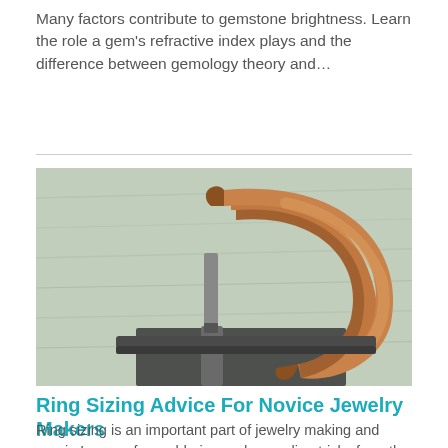Many factors contribute to gemstone brightness. Learn the role a gem’s refractive index plays and the difference between gemology theory and…
[Figure (photo): A copper ring being held open on a metal mandrel or anvil, showing ring sizing/shaping process against a light green background.]
Ring Sizing Advice For Novice Jewelry Makers
Ring sizing is an important part of jewelry making and repair. Learn a few soldering and annealing tricks from the pros to